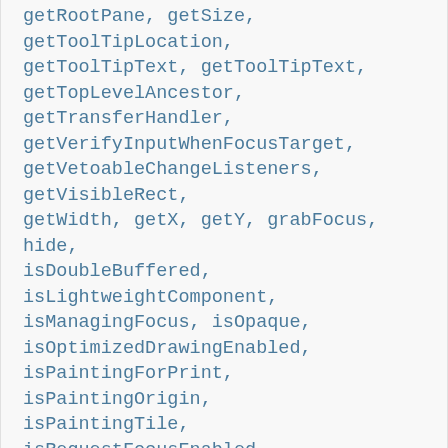getRootPane, getSize, getToolTipLocation, getToolTipText, getToolTipText, getTopLevelAncestor, getTransferHandler, getVerifyInputWhenFocusTarget, getVetoableChangeListeners, getVisibleRect, getWidth, getX, getY, grabFocus, hide, isDoubleBuffered, isLightweightComponent, isManagingFocus, isOpaque, isOptimizedDrawingEnabled, isPaintingForPrint, isPaintingOrigin, isPaintingTile, isRequestFocusEnabled, paintBorder, paintChildren, paintComponent, paintImmediately, paintImmediately, print, printAll, printBorder, printChildren, printComponent, processComponentKeyEvent, processKeyBinding, processKeyEvent, processMouseEvent, processMouseMotionEvent, putClientProperty, registerKeyboardAction, registerKeyboardAction, removeAncestorListener, removeVetoableChangeListener, repaint, repaint, requestDefaultFocus, requestFocus, requestFocusInWindow, resetKeyboardActions, reshape, revalidate, scrollRectToVisible